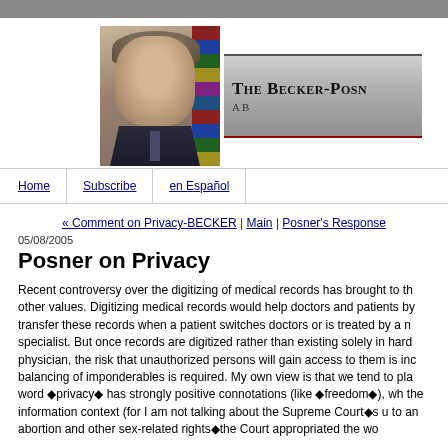The Becker-Posner Blog
Home | Subscribe | en Español
« Comment on Privacy-BECKER | Main | Posner's Response
05/08/2005
Posner on Privacy
Recent controversy over the digitizing of medical records has brought to the fore the conflict between privacy and other values. Digitizing medical records would help doctors and patients by making it easier to transfer these records when a patient switches doctors or is treated by a new physician such as a specialist. But once records are digitized rather than existing solely in hard copy filed with one physician, the risk that unauthorized persons will gain access to them is increased, and a difficult balancing of imponderables is required. My own view is that we tend to place too high a value on privacy. The word ◆privacy◆ has strongly positive connotations (like ◆freedom◆), which may mislead us, at least in the information context (for I am not talking about the Supreme Court◆s use of ◆privacy◆ to create a right to an abortion and other sex-related rights◆the Court appropriated the word